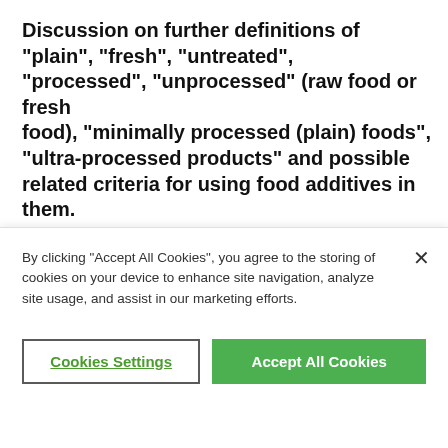Discussion on further definitions of “plain”, “fresh”, “untreated”, “processed”, “unprocessed” (raw food or fresh food), “minimally processed (plain) foods”, “ultra-processed products” and possible related criteria for using food additives in them.
CCFA50 struggled a bit with the discussion paper prepared by the Russian Federation. Indeed,
By clicking “Accept All Cookies”, you agree to the storing of cookies on your device to enhance site navigation, analyze site usage, and assist in our marketing efforts.
Cookies Settings
Accept All Cookies